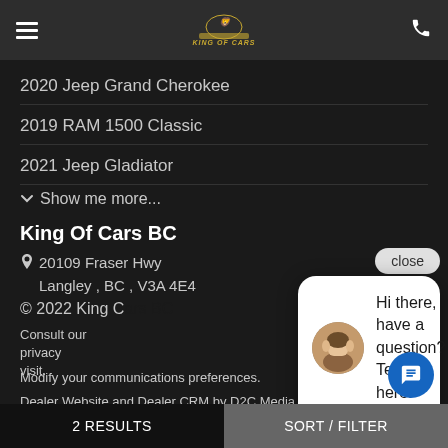King of Cars — navigation header
2020 Jeep Grand Cherokee
2019 RAM 1500 Classic
2021 Jeep Gladiator
Show me more...
King Of Cars BC
20109 Fraser Hwy Langley , BC , V3A 4E4
© 2022 King C...
Consult our privacy... visit.
Modify your communications preferences.
Dealer Website and Dealer CRM by D2C Media.
[Figure (screenshot): Chat popup with avatar photo of a woman and text: Hi there, have a question? Text us here. With close button and chat bubble icon.]
2 RESULTS    SORT / FILTER